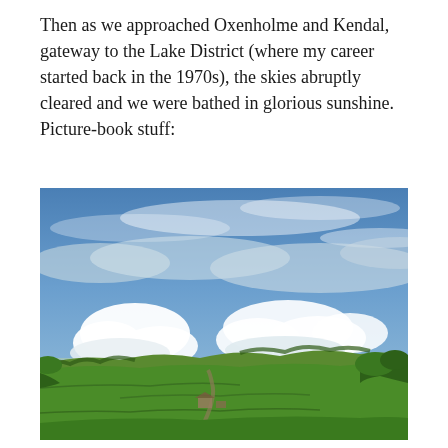Then as we approached Oxenholme and Kendal, gateway to the Lake District (where my career started back in the 1970s), the skies abruptly cleared and we were bathed in glorious sunshine. Picture-book stuff:
[Figure (photo): Aerial landscape photograph showing lush green rolling fields and countryside near the Lake District, with a wide blue sky partially covered by white cumulus clouds, green trees and hedgerows visible below.]